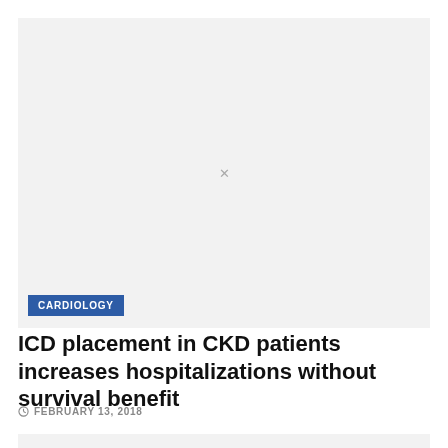[Figure (other): Placeholder image area with light gray background and a small x mark in the center]
CARDIOLOGY
ICD placement in CKD patients increases hospitalizations without survival benefit
FEBRUARY 13, 2018